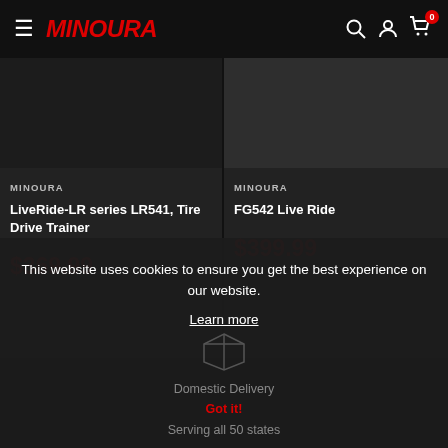MINOURA — navigation header with hamburger menu, logo, search, account, and cart icons (badge: 0)
MINOURA
LiveRide-LR series LR541, Tire Drive Trainer
$369.99
MINOURA
FG542 Live Ride
$399.99
This website uses cookies to ensure you get the best experience on our website.
Learn more
Domestic Delivery
Got it!
Serving all 50 states